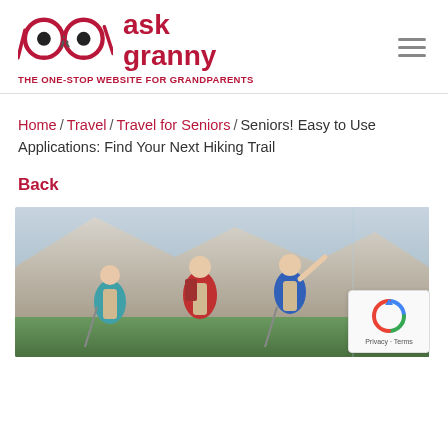ask granny — THE ONE-STOP WEBSITE FOR GRANDPARENTS
Home / Travel / Travel for Seniors / Seniors! Easy to Use Applications: Find Your Next Hiking Trail
Back
[Figure (photo): Three senior hikers with backpacks and trekking poles pointing at mountain scenery]